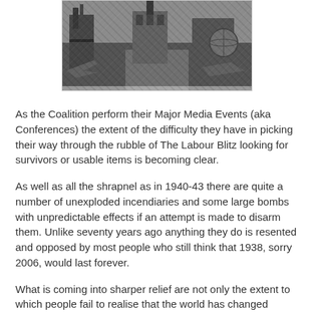[Figure (photo): Black and white photograph showing ruined/destroyed urban buildings and rubble, viewed from above or street level. Appears to be wartime destruction imagery.]
As the Coalition perform their Major Media Events (aka Conferences) the extent of the difficulty they have in picking their way through the rubble of The Labour Blitz looking for survivors or usable items is becoming clear.
As well as all the shrapnel as in 1940-43 there are quite a number of unexploded incendiaries and some large bombs with unpredictable effects if an attempt is made to disarm them. Unlike seventy years ago anything they do is resented and opposed by most people who still think that 1938, sorry 2006, would last forever.
What is coming into sharper relief are not only the extent to which people fail to realise that the world has changed forever but the weaknesses and liabilities which the Coalition has amongst it own troops and supporters. Some recent spats are an indication of one or two of the continuing